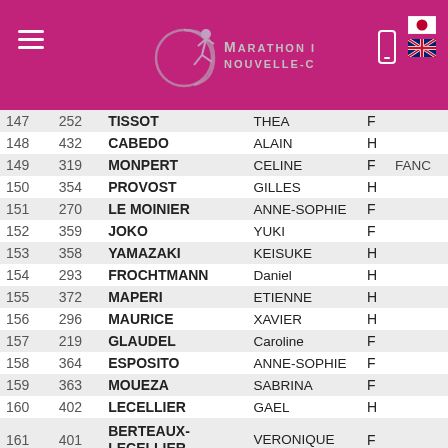Marathon International Nouvelle-Calédonie
| Rank | Bib | Last Name | First Name | Gender | Club |
| --- | --- | --- | --- | --- | --- |
| 147 | 252 | TISSOT | THEA | F |  |
| 148 | 432 | CABEDO | ALAIN | H |  |
| 149 | 319 | MONPERT | CELINE | F | FANC |
| 150 | 354 | PROVOST | GILLES | H |  |
| 151 | 270 | LE MOINIER | ANNE-SOPHIE | F |  |
| 152 | 359 | JOKO | YUKI | F |  |
| 153 | 358 | YAMAZAKI | KEISUKE | H |  |
| 154 | 293 | FROCHTMANN | Daniel | H |  |
| 155 | 372 | MAPERI | ETIENNE | H |  |
| 156 | 296 | MAURICE | XAVIER | H |  |
| 157 | 219 | GLAUDEL | Caroline | F |  |
| 158 | 364 | ESPOSITO | ANNE-SOPHIE | F |  |
| 159 | 363 | MOUEZA | SABRINA | F |  |
| 160 | 402 | LECELLIER | GAEL | H |  |
| 161 | 401 | BERTEAUX-LECELLIER | VERONIQUE | F |  |
| 162 | 229 | RABASSE | Bernard | H |  |